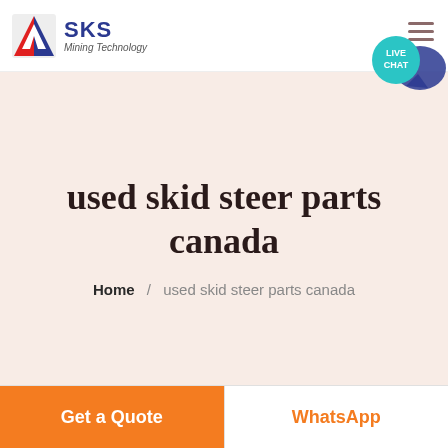[Figure (logo): SKS Mining Technology logo with red and blue diamond-shaped icon and company name]
used skid steer parts canada
Home / used skid steer parts canada
Get a Quote
WhatsApp